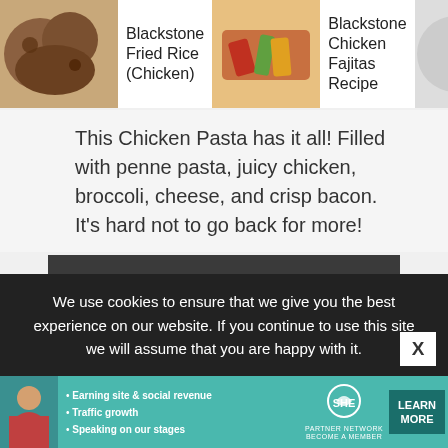Blackstone Fried Rice (Chicken) | Blackstone Chicken Fajitas Recipe | Ai Ch
This Chicken Pasta has it all! Filled with penne pasta, juicy chicken, broccoli, cheese, and crisp bacon. It's hard not to go back for more!
CONTINUE READING
[Figure (photo): Circular image of grilled/blackened chicken pieces on a dark surface]
[Figure (other): Score badge showing 77 with a red arc graphic and a heart icon]
We use cookies to ensure that we give you the best experience on our website. If you continue to use this site we will assume that you are happy with it.
[Figure (infographic): SHE Partner Network advertisement banner: Earning site & social revenue, Traffic growth, Speaking on our stages, LEARN MORE button]